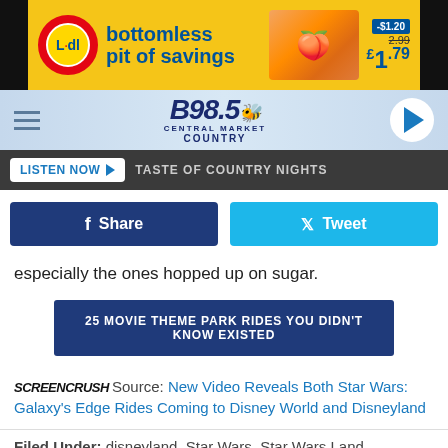[Figure (other): Lidl advertisement banner: 'bottomless pit of savings' with peaches image and price £1.79]
[Figure (logo): B98.5 Central Market Country radio station logo with navigation bar and play button]
LISTEN NOW ▶   TASTE OF COUNTRY NIGHTS
Share   Tweet (social share buttons)
especially the ones hopped up on sugar.
25 MOVIE THEME PARK RIDES YOU DIDN'T KNOW EXISTED
ScreenCrush Source: New Video Reveals Both Star Wars: Galaxy's Edge Rides Coming to Disney World and Disneyland
Filed Under: disneyland, Star Wars, Star Wars Land
Comments